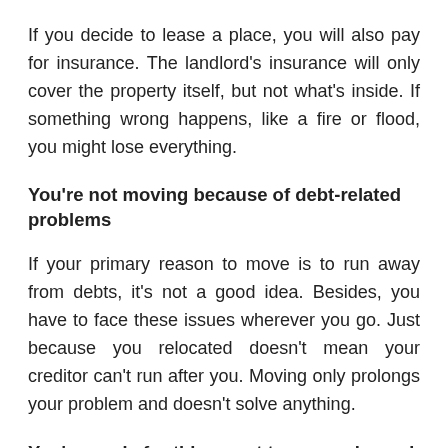If you decide to lease a place, you will also pay for insurance. The landlord's insurance will only cover the property itself, but not what's inside. If something wrong happens, like a fire or flood, you might lose everything.
You're not moving because of debt-related problems
If your primary reason to move is to run away from debts, it's not a good idea. Besides, you have to face these issues wherever you go. Just because you relocated doesn't mean your creditor can't run after you. Moving only prolongs your problem and doesn't solve anything.
You're ready for things not to go as planned
You might move because you found a new job. It pays well, and it's everything you want in a job. However, things might go the other way. Everything won't continue as